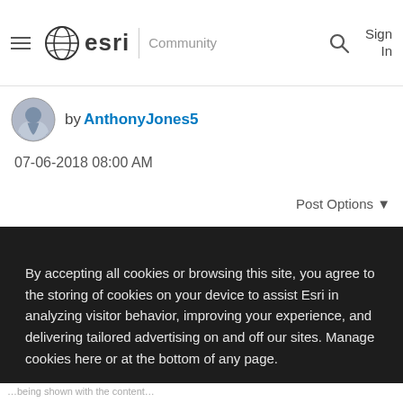esri Community
by AnthonyJones5
07-06-2018 08:00 AM
Post Options ▼
By accepting all cookies or browsing this site, you agree to the storing of cookies on your device to assist Esri in analyzing visitor behavior, improving your experience, and delivering tailored advertising on and off our sites. Manage cookies here or at the bottom of any page.
Accept All Cookies
Cookies Settings